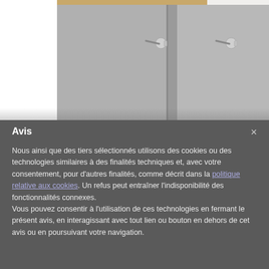[Figure (photo): Two gray interior doors with stainless steel lever handles and round escutcheons, photographed from below/front angle against white background.]
Avis
Nous ainsi que des tiers sélectionnés utilisons des cookies ou des technologies similaires à des finalités techniques et, avec votre consentement, pour d'autres finalités, comme décrit dans la politique relative aux cookies. Un refus peut entraîner l'indisponibilité des fonctionnalités connexes.
Vous pouvez consentir à l'utilisation de ces technologies en fermant le présent avis, en interagissant avec tout lien ou bouton en dehors de cet avis ou en poursuivant votre navigation.